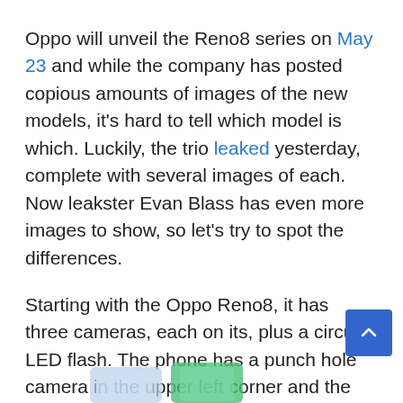Oppo will unveil the Reno8 series on May 23 and while the company has posted copious amounts of images of the new models, it's hard to tell which model is which. Luckily, the trio leaked yesterday, complete with several images of each. Now leakster Evan Blass has even more images to show, so let's try to spot the differences.

Starting with the Oppo Reno8, it has three cameras, each on its, plus a circular LED flash. The phone has a punch hole camera in the upper left corner and the bezel below the screen isn't the thinnest.
[Figure (photo): Partial bottom view of Oppo Reno8 phones]